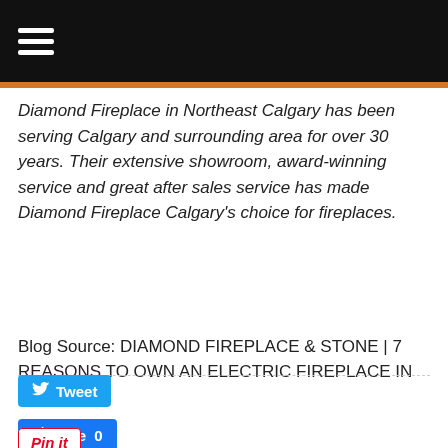Diamond Fireplace in Northeast Calgary has been serving Calgary and surrounding area for over 30 years. Their extensive showroom, award-winning service and great after sales service has made Diamond Fireplace Calgary's choice for fireplaces.
Blog Source: DIAMOND FIREPLACE & STONE | 7 REASONS TO OWN AN ELECTRIC FIREPLACE IN CALGARY
Tweet   Like 0   Pin it